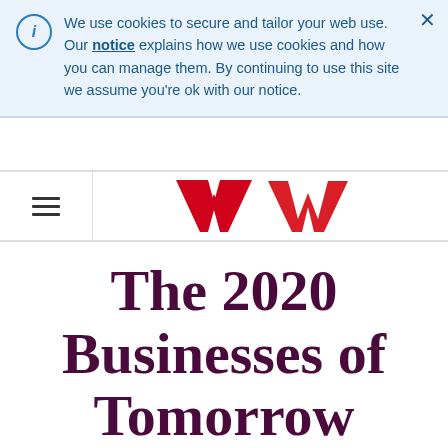We use cookies to secure and tailor your web use. Our notice explains how we use cookies and how you can manage them. By continuing to use this site we assume you're ok with our notice.
[Figure (logo): Westpac W logo in red]
The 2020 Businesses of Tomorrow Update